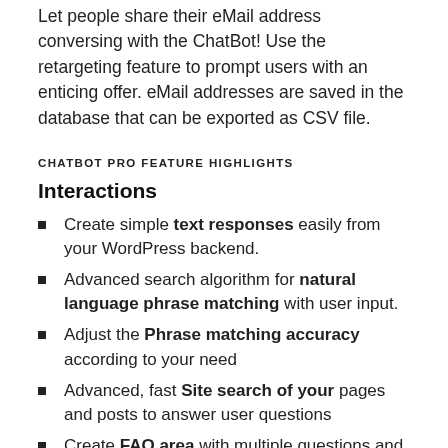Let people share their eMail address conversing with the ChatBot! Use the retargeting feature to prompt users with an enticing offer. eMail addresses are saved in the database that can be exported as CSV file.
CHATBOT PRO FEATURE HIGHLIGHTS
Interactions
Create simple text responses easily from your WordPress backend.
Advanced search algorithm for natural language phrase matching with user input.
Adjust the Phrase matching accuracy according to your need
Advanced, fast Site search of your pages and posts to answer user questions
Create FAQ area with multiple questions and